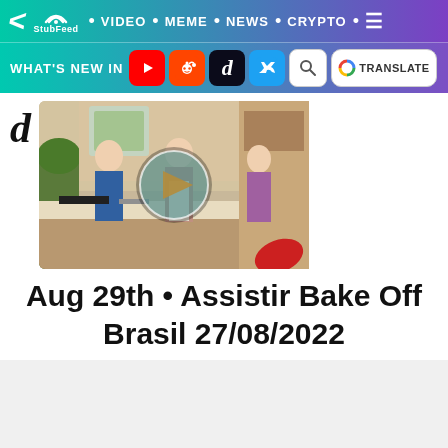StubFeed • VIDEO • MEME • NEWS • CRYPTO • WHAT'S NEW IN
[Figure (screenshot): Video thumbnail showing a cooking show scene with two women and a man in a kitchen, with a play button overlay]
Aug 29th • Assistir Bake Off Brasil 27/08/2022